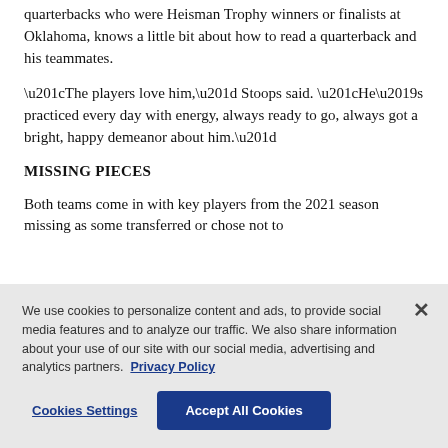quarterbacks who were Heisman Trophy winners or finalists at Oklahoma, knows a little bit about how to read a quarterback and his teammates.
“The players love him,” Stoops said. “He’s practiced every day with energy, always ready to go, always got a bright, happy demeanor about him.”
MISSING PIECES
Both teams come in with key players from the 2021 season missing as some transferred or chose not to play in bowl games and then transferred...
We use cookies to personalize content and ads, to provide social media features and to analyze our traffic. We also share information about your use of our site with our social media, advertising and analytics partners. Privacy Policy
Cookies Settings   Accept All Cookies